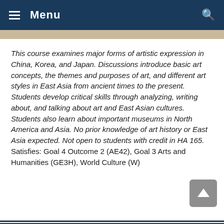Menu
This course examines major forms of artistic expression in China, Korea, and Japan. Discussions introduce basic art concepts, the themes and purposes of art, and different art styles in East Asia from ancient times to the present. Students develop critical skills through analyzing, writing about, and talking about art and East Asian cultures. Students also learn about important museums in North America and Asia. No prior knowledge of art history or East Asia expected. Not open to students with credit in HA 165. Satisfies: Goal 4 Outcome 2 (AE42), Goal 3 Arts and Humanities (GE3H), World Culture (W)